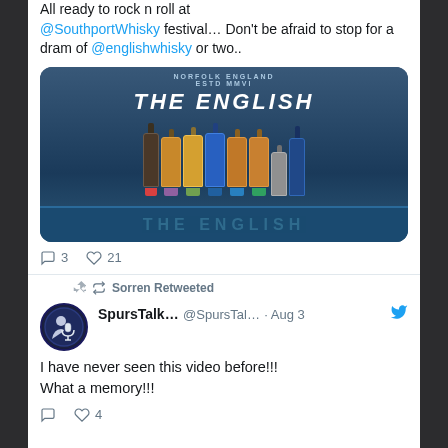All ready to rock n roll at @SouthportWhisky festival… Don't be afraid to stop for a dram of @englishwhisky or two..
[Figure (photo): Photo of multiple English whisky bottles displayed on a blue table with 'THE ENGLISH' distillery backdrop and 'NORFOLK ENGLAND ESTD MMVI' text]
3  21
Sorren Retweeted
[Figure (photo): SpursTalk profile avatar - circular icon with person/microphone silhouette on dark blue background]
SpursTalk...  @SpursTal...  · Aug 3
I have never seen this video before!!! What a memory!!!
4